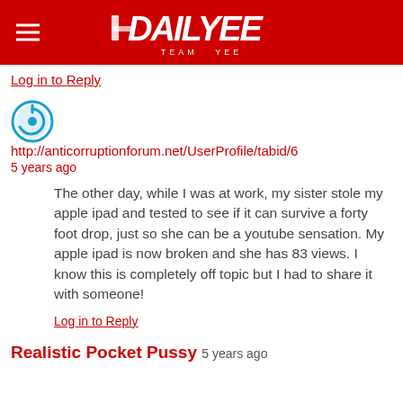DAILYEE TEAM YEE
Log in to Reply
[Figure (illustration): Blue circular power/user avatar icon]
http://anticorruptionforum.net/UserProfile/tabid/6...
5 years ago
The other day, while I was at work, my sister stole my apple ipad and tested to see if it can survive a forty foot drop, just so she can be a youtube sensation. My apple ipad is now broken and she has 83 views. I know this is completely off topic but I had to share it with someone!
Log in to Reply
Realistic Pocket Pussy  5 years ago